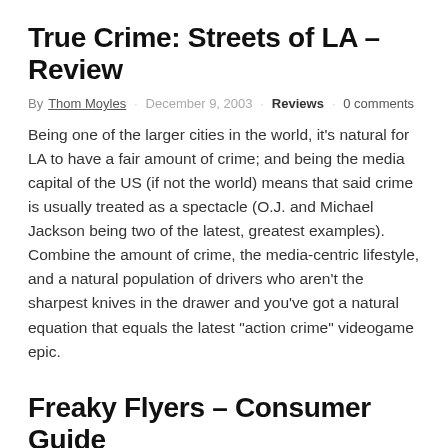True Crime: Streets of LA – Review
By Thom Moyles · December 9, 2003 · Reviews · 0 comments
Being one of the larger cities in the world, it's natural for LA to have a fair amount of crime; and being the media capital of the US (if not the world) means that said crime is usually treated as a spectacle (O.J. and Michael Jackson being two of the latest, greatest examples). Combine the amount of crime, the media-centric lifestyle, and a natural population of drivers who aren't the sharpest knives in the drawer and you've got a natural equation that equals the latest "action crime" videogame epic.
Freaky Flyers – Consumer Guide
By Thom Moyles · October 28, 2003 · Blogs · 0 comments
According to ESRB, this game contains: Comic Mischief